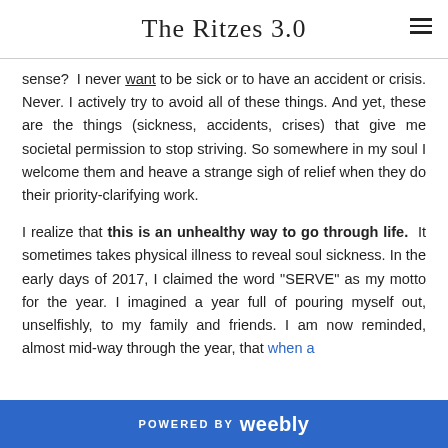The Ritzes 3.0
sense?  I never want to be sick or to have an accident or crisis. Never. I actively try to avoid all of these things. And yet, these are the things (sickness, accidents, crises) that give me societal permission to stop striving. So somewhere in my soul I welcome them and heave a strange sigh of relief when they do their priority-clarifying work.
I realize that this is an unhealthy way to go through life. It sometimes takes physical illness to reveal soul sickness. In the early days of 2017, I claimed the word "SERVE" as my motto for the year. I imagined a year full of pouring myself out, unselfishly, to my family and friends. I am now reminded, almost mid-way through the year, that when a pitcher is full, it doesn't have to be turned upside down in
POWERED BY weebly